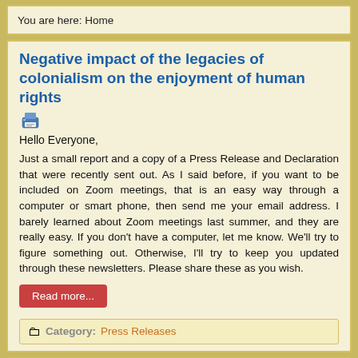You are here: Home
Negative impact of the legacies of colonialism on the enjoyment of human rights
Hello Everyone,
Just a small report and a copy of a Press Release and Declaration that were recently sent out. As I said before, if you want to be included on Zoom meetings, that is an easy way through a computer or smart phone, then send me your email address. I barely learned about Zoom meetings last summer, and they are really easy. If you don’t have a computer, let me know. We’ll try to figure something out. Otherwise, I’ll try to keep you updated through these newsletters. Please share these as you wish.
Read more...
Category: Press Releases
Western Hemisphere Alliance of Original Nations of